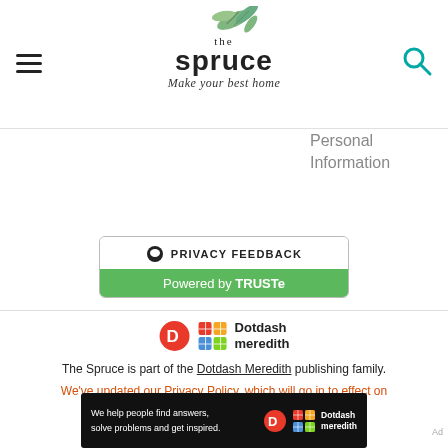the spruce — Make your best home
Personal Information
[Figure (other): Privacy Feedback button powered by TRUSTe]
[Figure (logo): Dotdash Meredith logo]
The Spruce is part of the Dotdash Meredith publishing family.
We've updated our Privacy Policy, which will go in to effect on September 1, 2022. Check it out here
[Figure (other): Dotdash Meredith ad banner: We help people find answers, solve problems and get inspired.]